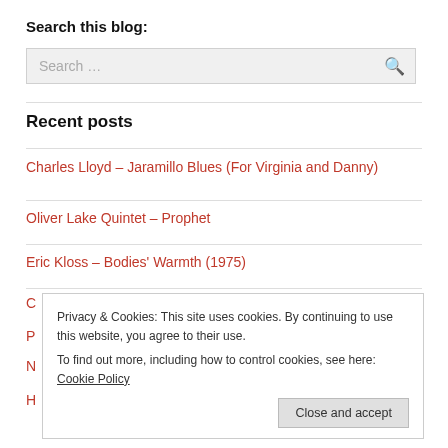Search this blog:
Search …
Recent posts
Charles Lloyd – Jaramillo Blues (For Virginia and Danny)
Oliver Lake Quintet – Prophet
Eric Kloss – Bodies' Warmth (1975)
Privacy & Cookies: This site uses cookies. By continuing to use this website, you agree to their use.
To find out more, including how to control cookies, see here: Cookie Policy
Close and accept